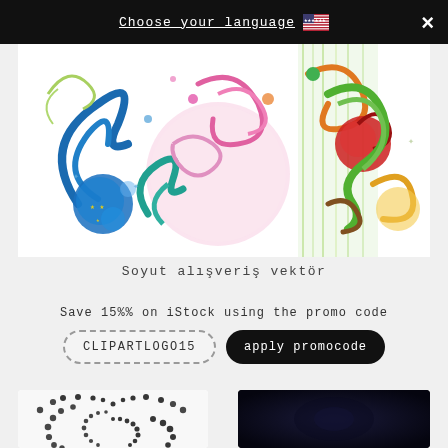Choose your language  🇺🇸  ×
[Figure (illustration): Colorful abstract floral swirl vector art with circles and curling vines in blue, pink, green, red, orange, yellow on white background]
Soyut alışveriş vektör
Save 15%% on iStock using the promo code
CLIPARTLOGO15   apply promocode
[Figure (illustration): Black and white halftone dot spiral vortex illustration]
[Figure (photo): Dark navy/purple abstract background image]